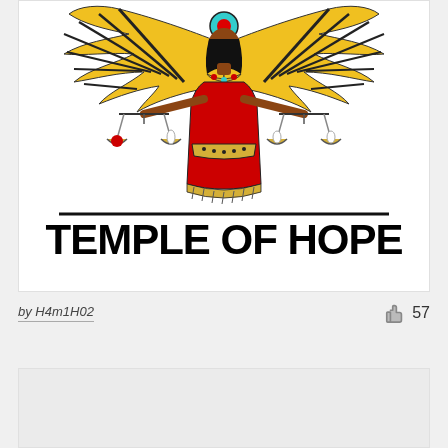[Figure (illustration): Egyptian goddess figure with outstretched wings holding balance scales, dressed in red and gold. Below the figure is a horizontal black line and bold black text reading TEMPLE OF HOPE.]
by H4m1H02
57
[Figure (illustration): Partial view of a second card/image with light gray background, content not fully visible.]